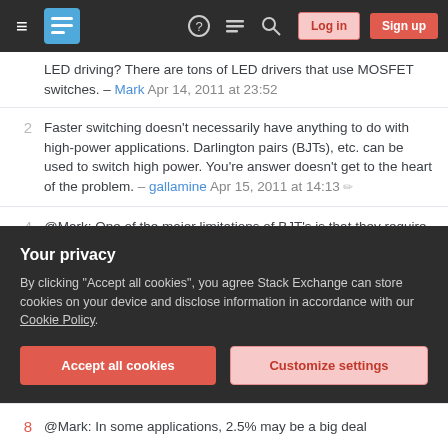Stack Exchange navigation bar with Log in and Sign up buttons
LED driving? There are tons of LED drivers that use MOSFET switches. – Mark Apr 14, 2011 at 23:52
2 Faster switching doesn't necessarily have anything to do with high-power applications. Darlington pairs (BJTs), etc. can be used to switch high power. You're answer doesn't get to the heart of the problem. – gallamine Apr 15, 2011 at 14:13
4 @Mark: One of the major limitations of BJT's is that they require base current proportional to the maximum possible collector current. When controlling something whose maximum current is much greater than the expected current (e.g. a motor) this can be very wasteful. When driving an LED, though, the current
Your privacy
By clicking "Accept all cookies", you agree Stack Exchange can store cookies on your device and disclose information in accordance with our Cookie Policy.
Accept all cookies | Customize settings
8 @Mark: In some applications, 2.5% may be a big deal